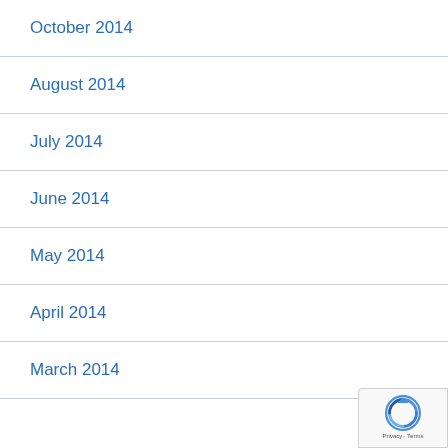October 2014
August 2014
July 2014
June 2014
May 2014
April 2014
March 2014